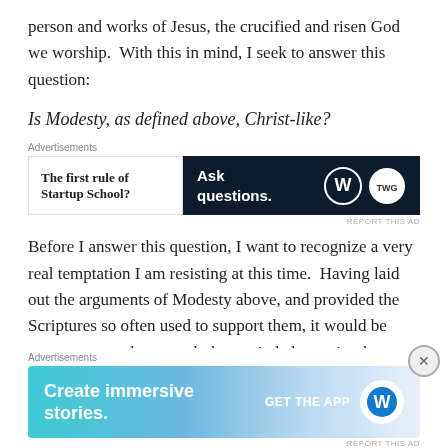person and works of Jesus, the crucified and risen God we worship.  With this in mind, I seek to answer this question:
Is Modesty, as defined above, Christ-like?
[Figure (other): Advertisement block with two panels: left panel showing 'The first rule of Startup School?' text, right dark panel showing 'Ask questions.' with WordPress and another logo]
Before I answer this question, I want to recognize a very real temptation I am resisting at this time.  Having laid out the arguments of Modesty above, and provided the Scriptures so often used to support them, it would be very easy – and extremely long winded – to simply explore each passage in depth.  I believe there is a place for such
[Figure (other): Advertisement banner: 'Create immersive stories.' with 'GET THE APP' and WordPress logo on a blue-teal gradient background]